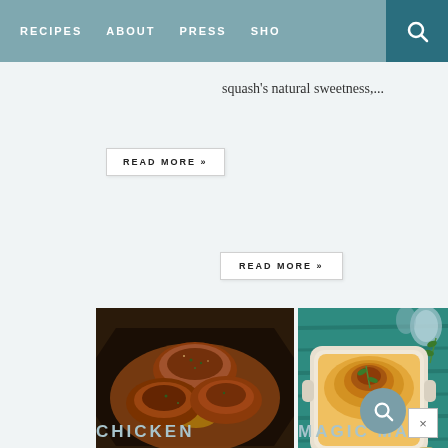RECIPES   ABOUT   PRESS   SHO [search]
squash's natural sweetness,...
READ MORE »
READ MORE »
[Figure (photo): Cast iron skillet with roasted chicken thighs in a tomato and vegetable sauce with herbs]
[Figure (photo): White baking dish with golden breadcrumb-topped mac and cheese on a teal wooden surface with glasses and herbs]
CHICKEN
MAGIC MAC